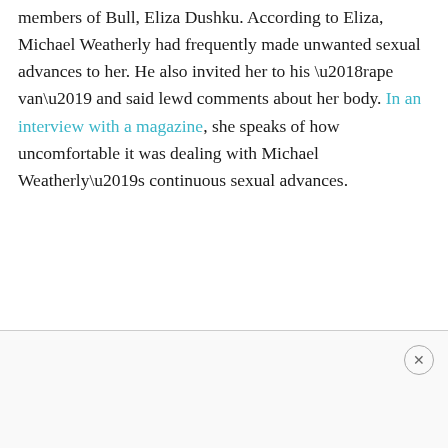members of Bull, Eliza Dushku. According to Eliza, Michael Weatherly had frequently made unwanted sexual advances to her. He also invited her to his ‘rape van’ and said lewd comments about her body. In an interview with a magazine, she speaks of how uncomfortable it was dealing with Michael Weatherly’s continuous sexual advances.